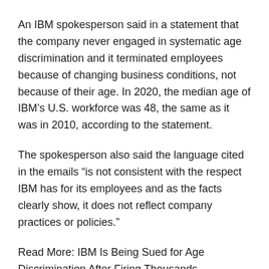An IBM spokesperson said in a statement that the company never engaged in systematic age discrimination and it terminated employees because of changing business conditions, not because of their age. In 2020, the median age of IBM’s U.S. workforce was 48, the same as it was in 2010, according to the statement.
The spokesperson also said the language cited in the emails “is not consistent with the respect IBM has for its employees and as the facts clearly show, it does not reflect company practices or policies.”
Read More: IBM Is Being Sued for Age Discrimination After Firing Thousands